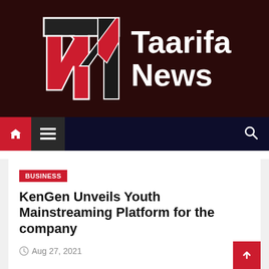[Figure (logo): Taarifa News logo with TN monogram in black, white and red on dark red background, with 'Taarifa News' text in white]
Navigation bar with home icon, menu icon, and search icon
BUSINESS
KenGen Unveils Youth Mainstreaming Platform for the company
Aug 27, 2021